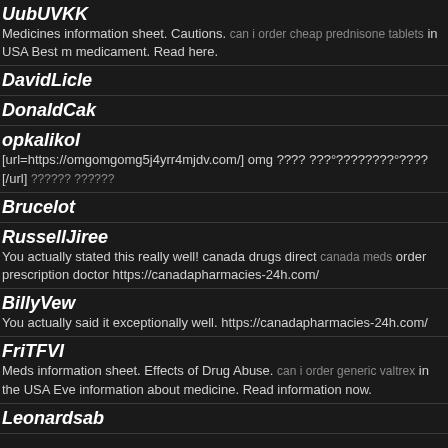UubUVKK
Medicines information sheet. Cautions. can i order cheap prednisone tablets in USA Best medicament. Read here.
DavidLicle
DonaldCak
opkalikol
[url=https://omgomgomg5j4yrr4mjdv.com/] omg ???? ???°????????°????[/url] ?????? ??????
Brucelot
RussellJiree
You actually stated this really well! canada drugs direct canada meds order prescription doctor https://canadapharmacies-24h.com/
BillyVew
You actually said it exceptionally well. https://canadapharmacies-24h.com/
FriTFVI
Meds information sheet. Effects of Drug Abuse. can i order generic valtrex in the USA Eve information about medicine. Read information now.
Leonardsab